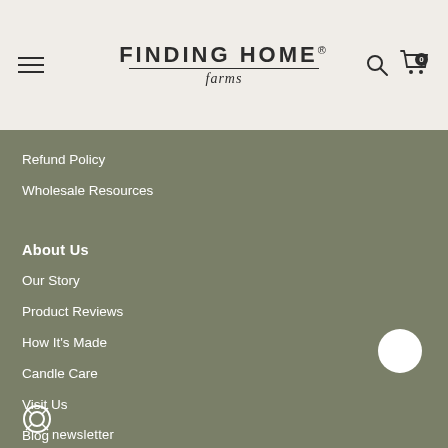Finding Home Farms
Refund Policy
Wholesale Resources
About Us
Our Story
Product Reviews
How It's Made
Candle Care
Visit Us
Blog
newsletter